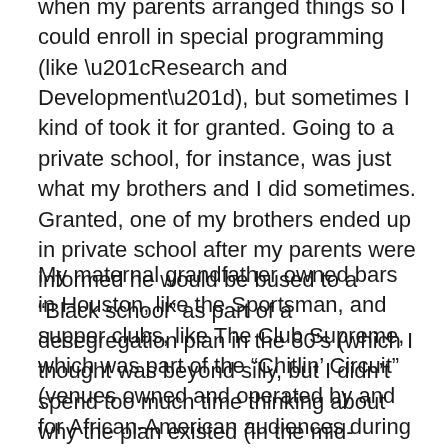when my parents arranged things so I could enroll in special programming (like “Research and Development”), but sometimes I kind of took it for granted. Going to a private school, for instance, was just what my brothers and I did sometimes. Granted, one of my brothers ended up in private school after my parents were informed he would be bused to a “Black school” as part of a desegregation plan in the 80’s (which I thought was beyond silly, but I didn’t spend too much time thinking about why the plan existed (in the mid-80’s!!!). I didn’t get it; it was outside of my experience.
My maternal grandfather owned bars in Houston, like the Sportsman, and supper clubs, like The Club Supreme, which was part of the “Chitlin’ Circuit” (venues owned and operated by and for African-American audiences during segregation). I grew up hearing about the great talents he